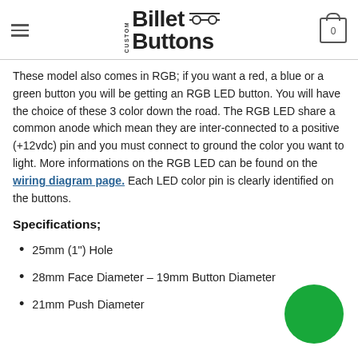Custom Billet Buttons
These model also comes in RGB; if you want a red, a blue or a green button you will be getting an RGB LED button. You will have the choice of these 3 color down the road. The RGB LED share a common anode which mean they are inter-connected to a positive (+12vdc) pin and you must connect to ground the color you want to light. More informations on the RGB LED can be found on the wiring diagram page. Each LED color pin is clearly identified on the buttons.
Specifications;
25mm (1") Hole
28mm Face Diameter – 19mm Button Diameter
21mm Push Diameter
[Figure (illustration): Green circle decorative element in the bottom right corner]